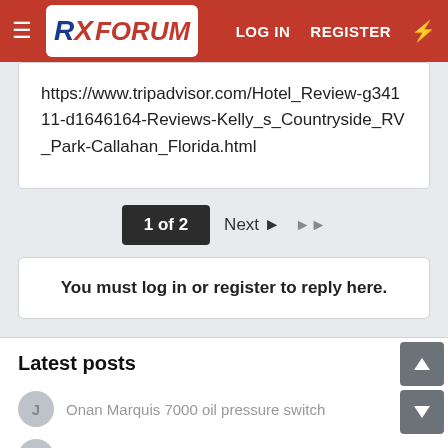RX Forum — LOG IN REGISTER
https://www.tripadvisor.com/Hotel_Review-g34111-d1646164-Reviews-Kelly_s_Countryside_RV_Park-Callahan_Florida.html
1 of 2  Next ▶  ▶▶
You must log in or register to reply here.
Latest posts
Onan Marquis 7000 oil pressure switch